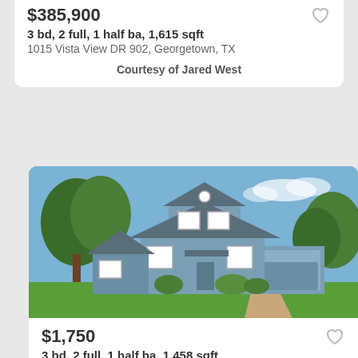$385,900
3 bd, 2 full, 1 half ba, 1,615 sqft
1015 Vista View DR 902, Georgetown, TX
Courtesy of Jared West
[Figure (photo): Two-story blue house with garage, green lawn, trees, and blue sky]
$1,750
3 bd, 2 full, 1 half ba, 1,458 sqft
304 Windridge Village CV, GEORGETOWN, TX
Courtesy of Betty Epperson